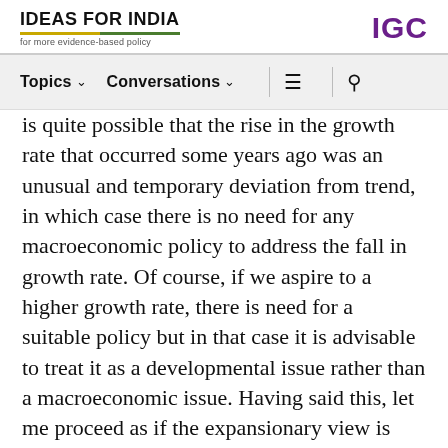IDEAS FOR INDIA — for more evidence-based policy | IGC
Topics  Conversations  [menu] [search]
is quite possible that the rise in the growth rate that occurred some years ago was an unusual and temporary deviation from trend, in which case there is no need for any macroeconomic policy to address the fall in growth rate. Of course, if we aspire to a higher growth rate, there is need for a suitable policy but in that case it is advisable to treat it as a developmental issue rather than a macroeconomic issue. Having said this, let me proceed as if the expansionary view is correct in treating the so-called slowdown as a macroeconomic problem. Even